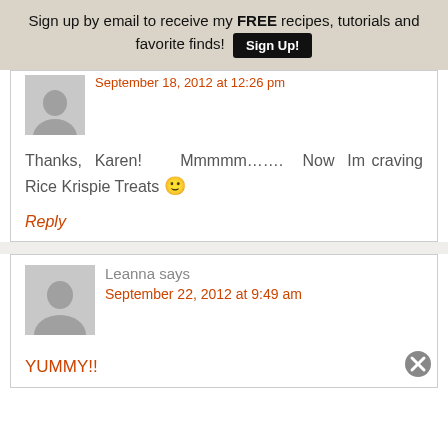Sign up by email to receive my FREE recipes, tutorials and favorite finds! Sign Up!
September 18, 2012 at 12:26 pm
Thanks, Karen! Mmmmm……. Now Im craving Rice Krispie Treats 🙂
Reply
Leanna says
September 22, 2012 at 9:49 am
YUMMY!!